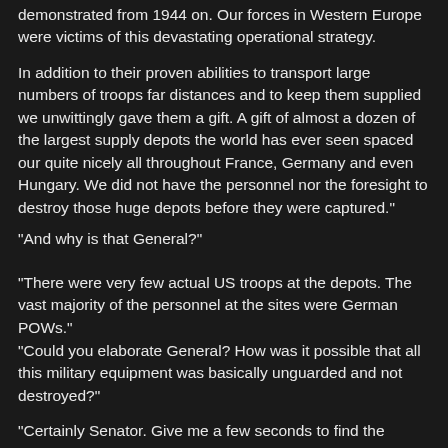demonstrated from 1944 on. Our forces in Western Europe were victims of this devastating operational strategy.
In addition to their proven abilities to transport large numbers of troops far distances and to keep them supplied we unwittingly gave them a gift. A gift of almost a dozen of the largest supply depots the world has ever seen spaced our quite nicely all throughout France, Germany and even Hungary. We did not have the personnel nor the foresight to destroy those huge depots before they were captured."
"And why is that General?"
"There were very few actual US troops at the depots. The vast majority of the personnel at the sites were German POWs."
"Could you elaborate General? How was it possible that all this military equipment was basically unguarded and not destroyed?"
"Certainly Senator. Give me a few seconds to find the